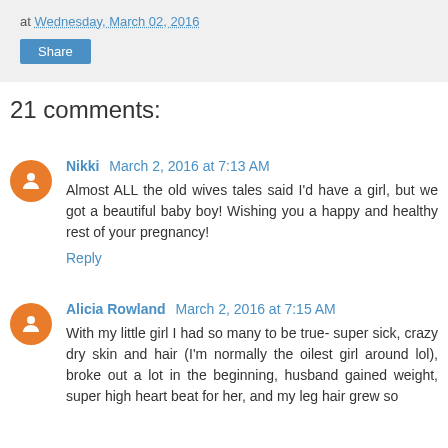at Wednesday, March 02, 2016
Share
21 comments:
Nikki  March 2, 2016 at 7:13 AM
Almost ALL the old wives tales said I'd have a girl, but we got a beautiful baby boy! Wishing you a happy and healthy rest of your pregnancy!
Reply
Alicia Rowland  March 2, 2016 at 7:15 AM
With my little girl I had so many to be true- super sick, crazy dry skin and hair (I'm normally the oilest girl around lol), broke out a lot in the beginning, husband gained weight, super high heart beat for her, and my leg hair grew so